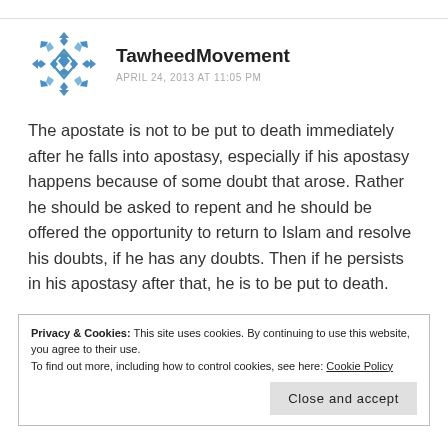[Figure (logo): Blue snowflake/diamond pattern avatar icon for TawheedMovement]
TawheedMovement
APRIL 24, 2013 AT 11:05 PM
The apostate is not to be put to death immediately after he falls into apostasy, especially if his apostasy happens because of some doubt that arose. Rather he should be asked to repent and he should be offered the opportunity to return to Islam and resolve his doubts, if he has any doubts. Then if he persists in his apostasy after that, he is to be put to death.
Privacy & Cookies: This site uses cookies. By continuing to use this website, you agree to their use.
To find out more, including how to control cookies, see here: Cookie Policy
Close and accept